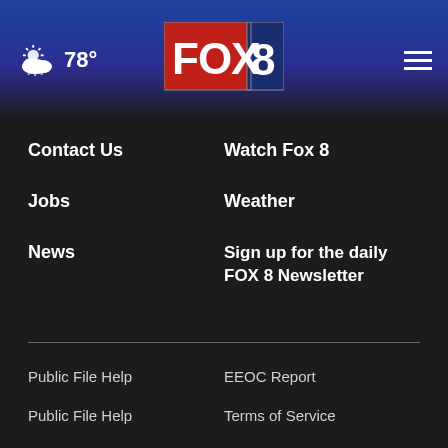FOX 8 — 78° weather navigation header
Contact Us
Watch Fox 8
Jobs
Weather
News
Sign up for the daily FOX 8 Newsletter
Public File Help
EEOC Report
Public File Help
Terms of Service
FAQ
Privacy Policy
Terms Of Use
Do Not Sell My Personal